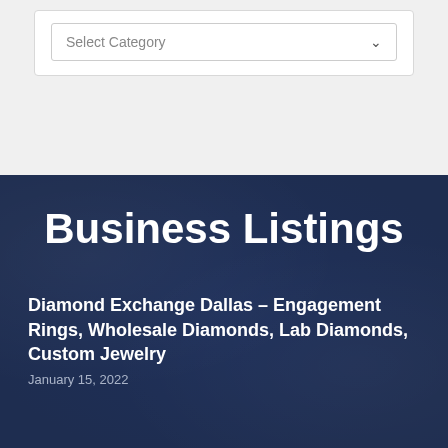Select Category
Business Listings
Diamond Exchange Dallas – Engagement Rings, Wholesale Diamonds, Lab Diamonds, Custom Jewelry
January 15, 2022